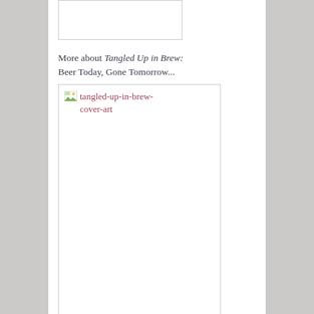[Figure (other): Broken/missing image placeholder box at top of page]
More about Tangled Up in Brew: Beer Today, Gone Tomorrow...
[Figure (other): Broken image placeholder for tangled-up-in-brew-cover-art]